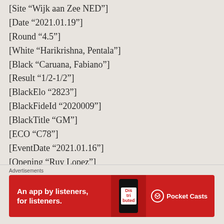[Site “Wijk aan Zee NED”]
[Date “2021.01.19”]
[Round “4.5”]
[White “Harikrishna, Pentala”]
[Black “Caruana, Fabiano”]
[Result “1/2-1/2”]
[BlackElo “2823”]
[BlackFideId “2020009”]
[BlackTitle “GM”]
[ECO “C78”]
[EventDate “2021.01.16”]
[Opening “Ruy Lopez”]
[Figure (other): Advertisement banner for Pocket Casts app: red background with text 'An app by listeners, for listeners.' and Pocket Casts logo, with a phone graphic showing 'Dis-tri-buted' text.]